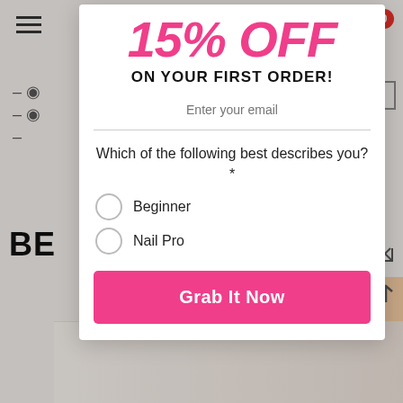15% OFF
ON YOUR FIRST ORDER!
Enter your email
Which of the following best describes you?*
Beginner
Nail Pro
Grab It Now